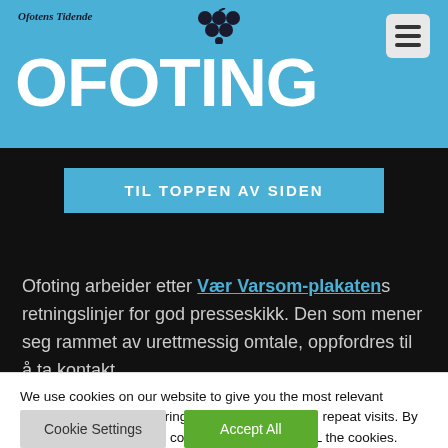Ofotens Tidende OFOTING
TIL TOPPEN AV SIDEN
Ofoting arbeider etter Vær Varsom-plakatens retningslinjer for god presseskikk. Den som mener seg rammet av urettmessig omtale, oppfordres til å ta kontakt
We use cookies on our website to give you the most relevant experience by remembering your preferences and repeat visits. By clicking "Accept All", you consent to the use of ALL the cookies. However, you may visit "Cookie Settings" to provide a controlled consent.
Cookie Settings | Accept All